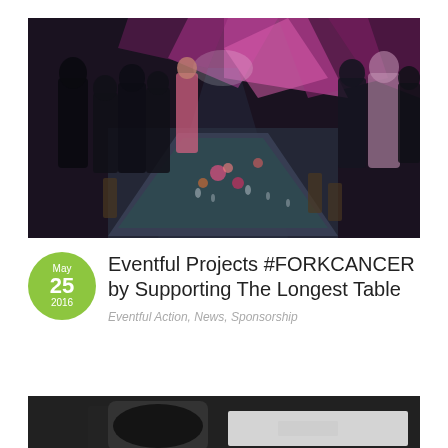[Figure (photo): Indoor event/gala dinner photo showing a long decorated banquet table with floral centerpieces, glassware, and place settings, lit by colorful stage lighting (purple/pink geometric backdrop) with people standing around the perimeter in a dark venue.]
Eventful Projects #FORKCANCER by Supporting The Longest Table
Eventful Action, News, Sponsorship
[Figure (photo): Partial photo of a dark surface, likely a table or desk, cropped at the bottom of the page.]